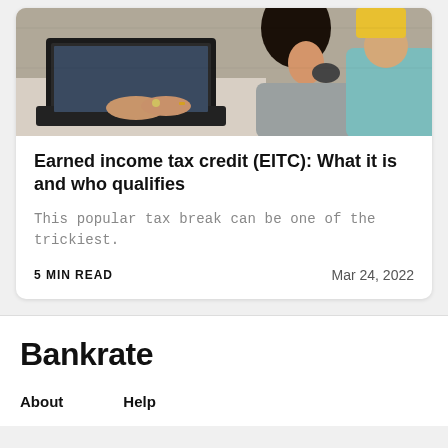[Figure (photo): Photo of a woman with long dark hair working on a laptop at a desk, with another person visible in the background]
Earned income tax credit (EITC): What it is and who qualifies
This popular tax break can be one of the trickiest.
5 MIN READ    Mar 24, 2022
Bankrate
About
Help